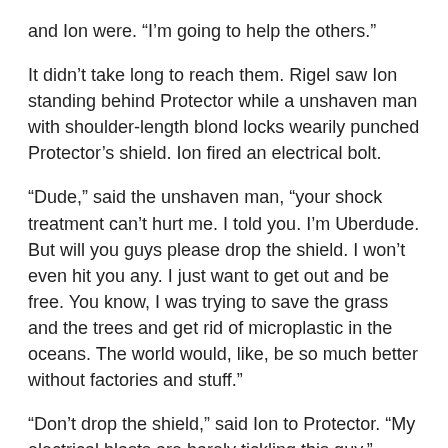and Ion were. “I’m going to help the others.”
It didn’t take long to reach them. Rigel saw Ion standing behind Protector while a unshaven man with shoulder-length blond locks wearily punched Protector’s shield. Ion fired an electrical bolt.
“Dude,” said the unshaven man, “your shock treatment can’t hurt me. I told you. I’m Uberdude. But will you guys please drop the shield. I won’t even hit you any. I just want to get out and be free. You know, I was trying to save the grass and the trees and get rid of microplastic in the oceans. The world would, like, be so much better without factories and stuff.”
“Don’t drop the shield,” said Ion to Protector. “My electrical blasts are barely tickling this guy.”